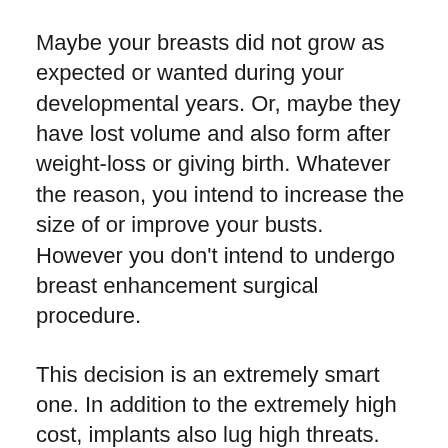Maybe your breasts did not grow as expected or wanted during your developmental years. Or, maybe they have lost volume and also form after weight-loss or giving birth. Whatever the reason, you intend to increase the size of or improve your busts. However you don't intend to undergo breast enhancement surgical procedure.
This decision is an extremely smart one. In addition to the extremely high cost, implants also lug high threats. They need the rep of the corrective surgical procedure and it can produce possible problems in the future.
These problems consist of an enhanced